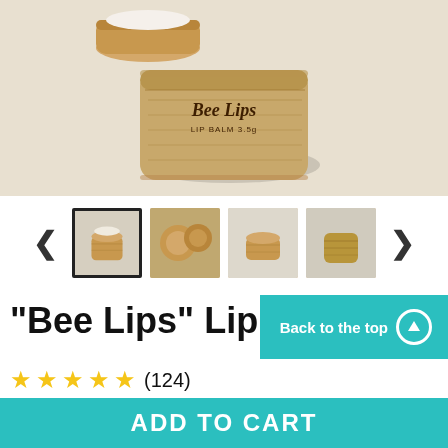[Figure (photo): Close-up photo of a wooden lip balm container labeled 'Bee Lips LIP BALM 3.5g' on a light stone surface, lid off showing white balm inside]
[Figure (photo): Thumbnail row showing four product images of Bee Lips wooden lip balm containers from various angles]
"Bee Lips" Lip
Back to the top
★★★★★ (124)
ADD TO CART